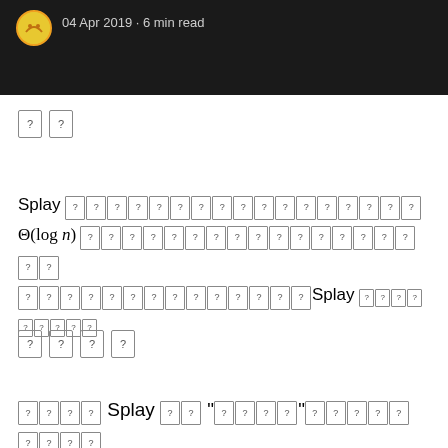04 Apr 2019 • 6 min read
[tofu characters - unrenderable glyphs]
Splay [CJK characters] Θ(log n) [CJK characters] Splay [CJK characters]
[tofu characters - unrenderable glyphs]
[CJK] Splay [CJK] "[CJK]" [CJK]